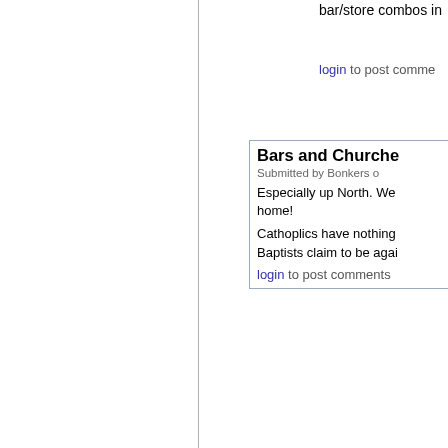bar/store combos in
login to post comme
Bars and Churche
Submitted by Bonkers o
Especially up North. We home!
Cathoplics have nothing Baptists claim to be agai
login to post comments
Bonkers...abo
Submitted by Main S
Are you feeling a bit
Maybe this is why:
REGIONALISM AND
login to post comme
Regionalis
Submitted by m
Interesting ma